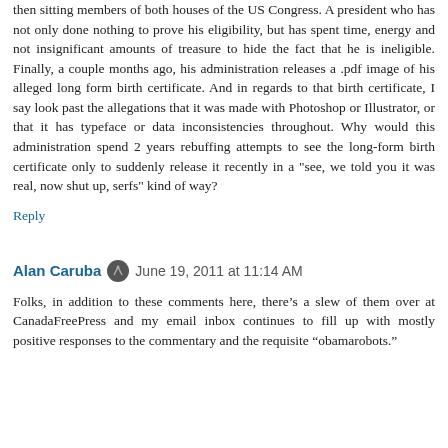then sitting members of both houses of the US Congress. A president who has not only done nothing to prove his eligibility, but has spent time, energy and not insignificant amounts of treasure to hide the fact that he is ineligible. Finally, a couple months ago, his administration releases a .pdf image of his alleged long form birth certificate. And in regards to that birth certificate, I say look past the allegations that it was made with Photoshop or Illustrator, or that it has typeface or data inconsistencies throughout. Why would this administration spend 2 years rebuffing attempts to see the long-form birth certificate only to suddenly release it recently in a "see, we told you it was real, now shut up, serfs" kind of way?
Reply
Alan Caruba  June 19, 2011 at 11:14 AM
Folks, in addition to these comments here, there’s a slew of them over at CanadaFreePress and my email inbox continues to fill up with mostly positive responses to the commentary and the requisite “obamarobots.”